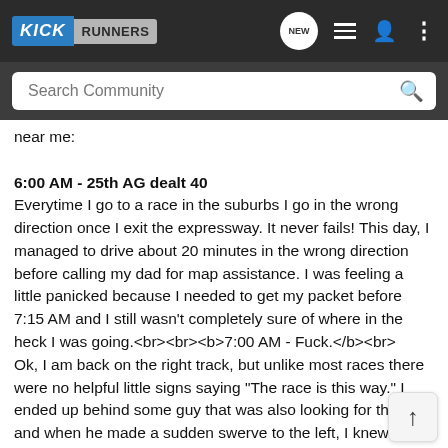KICK RUNNERS - navigation bar with search
near me: <br> <br> <b>6:00 AM - 25th AG dealt 40 <br> Everytime I go to a race in the suburbs I go in the wrong direction once I exit the expressway. It never fails! This day, I managed to drive about 20 minutes in the wrong direction before calling my dad for map assistance. I was feeling a little panicked because I needed to get my packet before 7:15 AM and I still wasn't completely sure of where in the heck I was going.<br><br><b>7:00 AM - Fuck.</b><br> Ok, I am back on the right track, but unlike most races there were no helpful little signs saying "The race is this way." I ended up behind some guy that was also looking for the race and when he made a sudden swerve to the left, I knew we had made it.<br><br> I made my way across the street to pick up my packet and get weighed in for the Clydesdale division then I made my way back to my car to put everything away and get my bib on.